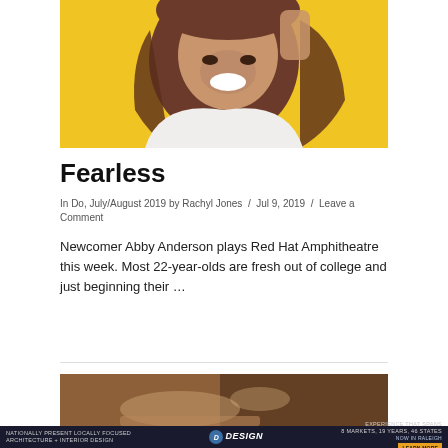[Figure (photo): Smiling young woman with long brown hair against a yellow background, hand raised near her head, wearing a white top]
Fearless
In Do, July/August 2019 by Rachyl Jones / Jul 9, 2019 / Leave a Comment
Newcomer Abby Anderson plays Red Hat Amphitheatre this week. Most 22-year-olds are fresh out of college and just beginning their ...
[Figure (photo): Partially visible photo of a person's hands near wooden surface, warm-toned blurred background]
[Figure (other): Advertisement bar: Nationally Present Locally Focused, Architecture + Interior Design, Meeks+Davis Design logo, Experience That Spans 8 Markets 19 Years 46 States, Now In Raleigh, Learn More button]